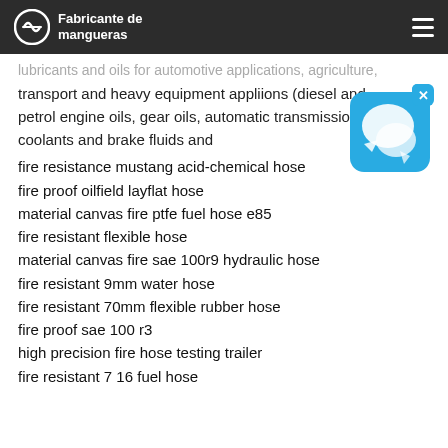Fabricante de mangueras
lubricants and oils for automotive applications, agriculture, transport and heavy equipment appliions (diesel and petrol engine oils, gear oils, automatic transmissions oils, coolants and brake fluids and
[Figure (screenshot): Chat widget icon — blue rounded square with speech bubbles, white X close button in top-right corner]
fire resistance mustang acid-chemical hose
fire proof oilfield layflat hose
material canvas fire ptfe fuel hose e85
fire resistant flexible hose
material canvas fire sae 100r9 hydraulic hose
fire resistant 9mm water hose
fire resistant 70mm flexible rubber hose
fire proof sae 100 r3
high precision fire hose testing trailer
fire resistant 7 16 fuel hose